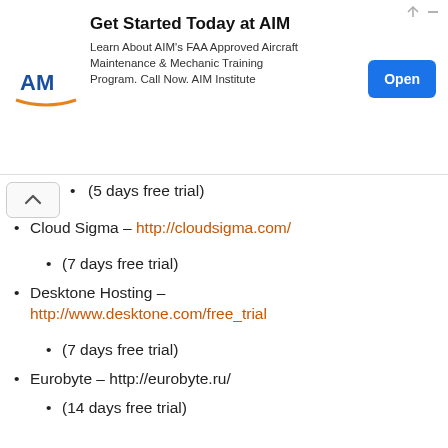[Figure (other): Advertisement banner for AIM Institute: 'Get Started Today at AIM – Learn About AIM's FAA Approved Aircraft Maintenance & Mechanic Training Program. Call Now. AIM Institute' with Open button]
(5 days free trial)
Cloud Sigma – http://cloudsigma.com/
(7 days free trial)
Desktone Hosting – http://www.desktone.com/free_trial
(7 days free trial)
Eurobyte – http://eurobyte.ru/
(14 days free trial)
Microsoft Dynamics VPS Hosting – http://www.atum.com/
(15 days free trial)
RSA Web VPS Hosting –